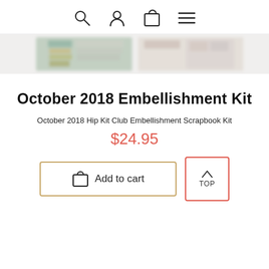Navigation icons: search, user, cart, menu
[Figure (photo): Blurred strip showing product images of scrapbook kit embellishments]
October 2018 Embellishment Kit
October 2018 Hip Kit Club Embellishment Scrapbook Kit
$24.95
Add to cart
TOP